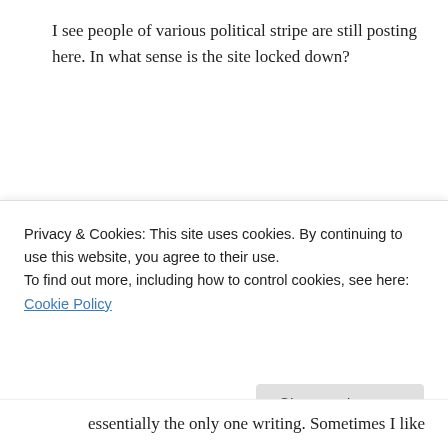I see people of various political stripe are still posting here. In what sense is the site locked down?
↳ Reply
mtstargazer on June 13, 2015 at 1:30 pm
[Figure (other): Five green stars rating with info icon and '1 Votes' text]
Reading all the post I hear a lot of anger and frustration. Honestly when I first started reading
Privacy & Cookies: This site uses cookies. By continuing to use this website, you agree to their use.
To find out more, including how to control cookies, see here: Cookie Policy
essentially the only one writing. Sometimes I like